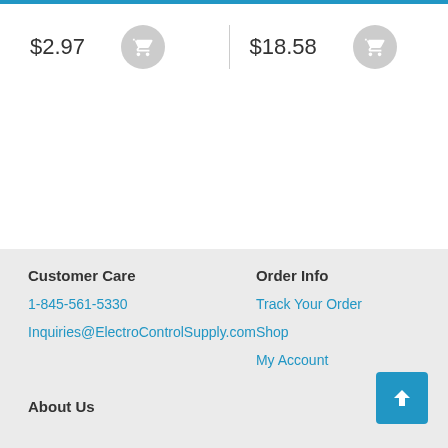$2.97
$18.58
Customer Care
1-845-561-5330
Inquiries@ElectroControlSupply.com
Order Info
Track Your Order
Shop
My Account
About Us